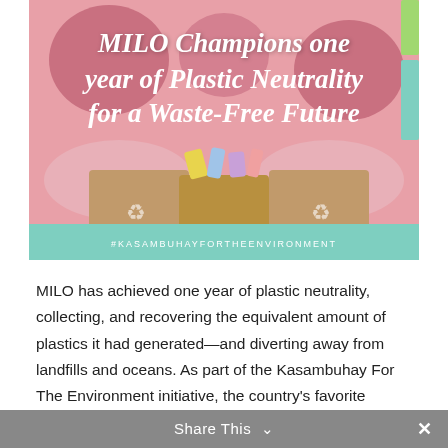[Figure (illustration): Illustrated banner image showing cartoon characters holding recycling/waste boxes filled with plastic items. Pink/rose background with illustrated figures. Text overlay reads 'MILO Champions one year of Plastic Neutrality for a Waste-Free Future'. Teal bar at bottom with hashtag #KASAMBUHAYFORTHEENVIRONMENT.]
MILO has achieved one year of plastic neutrality, collecting, and recovering the equivalent amount of plastics it had generated—and diverting away from landfills and oceans. As part of the Kasambuhay For The Environment initiative, the country's favorite powdered chocomalt milk drink committed that for every pack of MILO that consumers
Share This ∨  ×